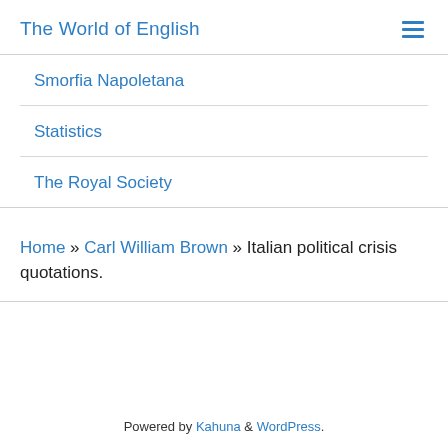The World of English
Smorfia Napoletana
Statistics
The Royal Society
Home » Carl William Brown » Italian political crisis quotations.
Powered by Kahuna & WordPress.